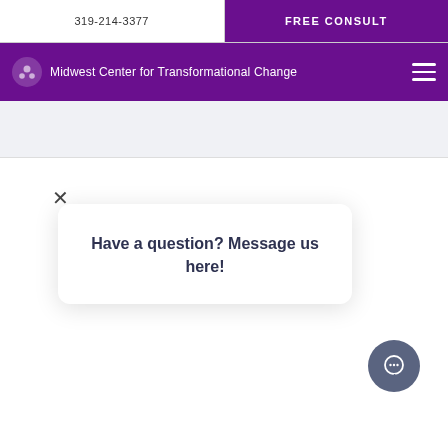319-214-3377
FREE CONSULT
Midwest Center for Transformational Change
Have a question? Message us here!